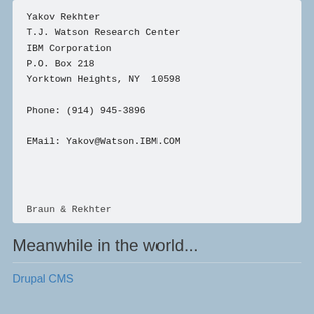Yakov Rekhter
T.J. Watson Research Center
IBM Corporation
P.O. Box 218
Yorktown Heights, NY  10598

Phone: (914) 945-3896

EMail: Yakov@Watson.IBM.COM
Braun & Rekhter
Meanwhile in the world...
Drupal CMS